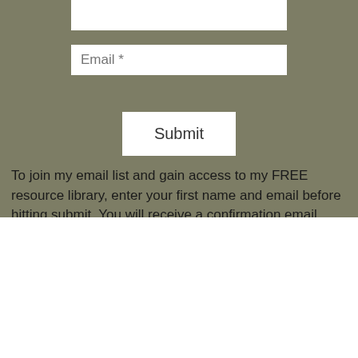[Figure (screenshot): Email input field with placeholder text 'Email *' on olive/khaki background]
[Figure (screenshot): Submit button on olive/khaki background]
To join my email list and gain access to my FREE resource library, enter your first name and email before hitting submit. You will receive a confirmation email. Once you confirm, you will receive the link to the
×
Want to fall in love with Scripture and find joy in your Bible reading?
SIGN UP TO DOWNLOAD MY FREE Guided Study of Psalm 119 and read my transformation story through grief! *Limited time offer*